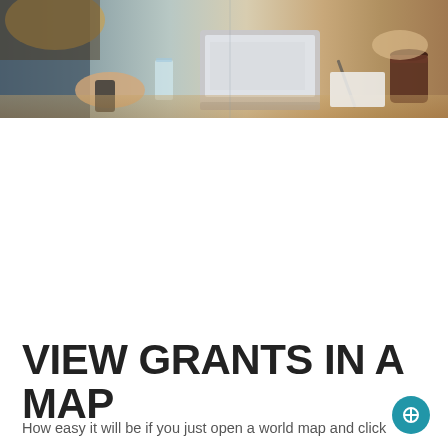[Figure (photo): A meeting scene photographed from above showing people around a table with a laptop, papers, glasses of water, and a coffee cup. The image has a blueish-grey tint on the left side and warm brown tones on the right.]
VIEW GRANTS IN A MAP
How easy it will be if you just open a world map and click